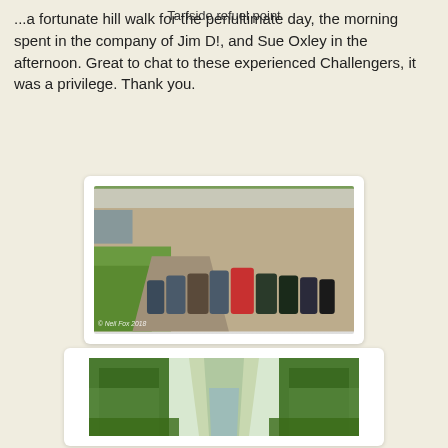...a fortunate hill walk for the penultimate day, the morning spent in the company of Jim D!, and Sue Oxley in the afternoon. Great to chat to these experienced Challengers, it was a privilege. Thank you.
[Figure (photo): Backpacks and walking gear leaning against a stone wall along a path beside a grassy area. Photo watermark reads: © Neil Fox 2018]
Tarfside refuel point
[Figure (photo): A narrow path or stream cutting through dense green forest vegetation, viewed from above.]